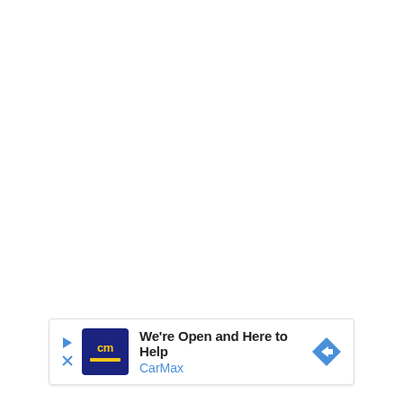[Figure (other): Advertisement banner for CarMax. Shows CarMax logo (dark blue square with 'cm' in yellow text), headline 'We're Open and Here to Help', brand name 'CarMax' in blue, a play/skip button, close button, and a blue diamond-shaped direction arrow icon on the right.]